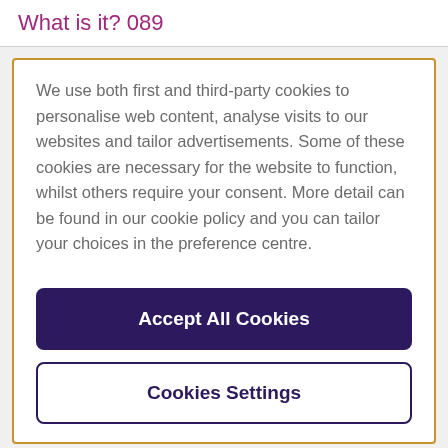What is it? 089
We use both first and third-party cookies to personalise web content, analyse visits to our websites and tailor advertisements. Some of these cookies are necessary for the website to function, whilst others require your consent. More detail can be found in our cookie policy and you can tailor your choices in the preference centre.
Accept All Cookies
Cookies Settings